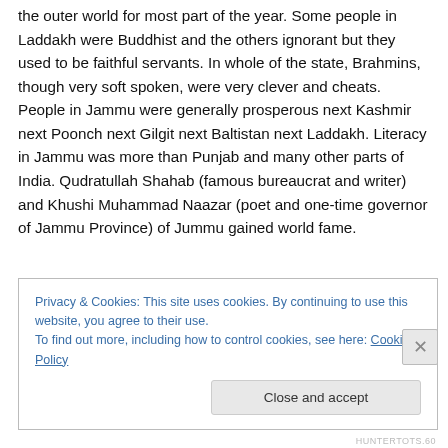the outer world for most part of the year. Some people in Laddakh were Buddhist and the others ignorant but they used to be faithful servants. In whole of the state, Brahmins, though very soft spoken, were very clever and cheats. People in Jammu were generally prosperous next Kashmir next Poonch next Gilgit next Baltistan next Laddakh. Literacy in Jammu was more than Punjab and many other parts of India. Qudratullah Shahab (famous bureaucrat and writer) and Khushi Muhammad Naazar (poet and one-time governor of Jammu Province) of Jummu gained world fame.
Privacy & Cookies: This site uses cookies. By continuing to use this website, you agree to their use. To find out more, including how to control cookies, see here: Cookie Policy
Close and accept